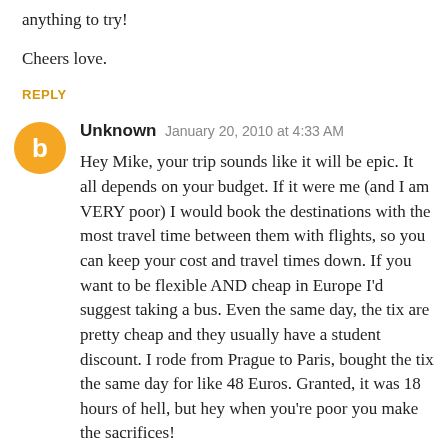anything to try!
Cheers love.
REPLY
Unknown  January 20, 2010 at 4:33 AM
Hey Mike, your trip sounds like it will be epic. It all depends on your budget. If it were me (and I am VERY poor) I would book the destinations with the most travel time between them with flights, so you can keep your cost and travel times down. If you want to be flexible AND cheap in Europe I'd suggest taking a bus. Even the same day, the tix are pretty cheap and they usually have a student discount. I rode from Prague to Paris, bought the tix the same day for like 48 Euros. Granted, it was 18 hours of hell, but hey when you're poor you make the sacrifices!
So in sum: book some major flights and bus the rest. As for trains, hell they are ****in expensive the more time that goes by, more